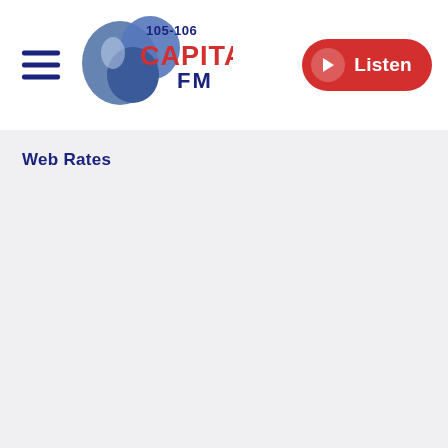Capital FM 105-106 | Listen
Web Rates